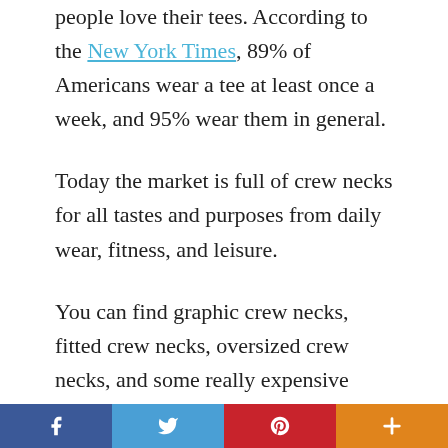people love their tees. According to the New York Times, 89% of Americans wear a tee at least once a week, and 95% wear them in general.
Today the market is full of crew necks for all tastes and purposes from daily wear, fitness, and leisure.
You can find graphic crew necks, fitted crew necks, oversized crew necks, and some really expensive options worn by the rich and the famous. The crew necks are everywhere, and it's the only proof anyone needs for their undying